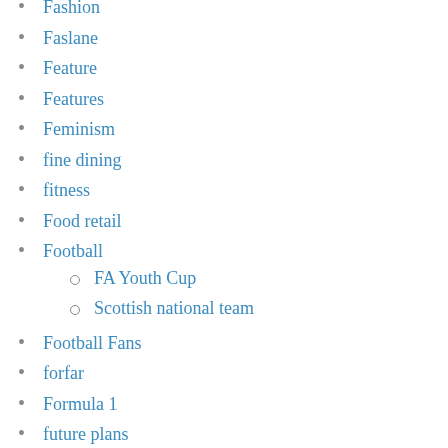Fashion
Faslane
Feature
Features
Feminism
fine dining
fitness
Food retail
Football
FA Youth Cup
Scottish national team
Football Fans
forfar
Formula 1
future plans
Gender equality
General Election
Glasgow
Glasgow Central